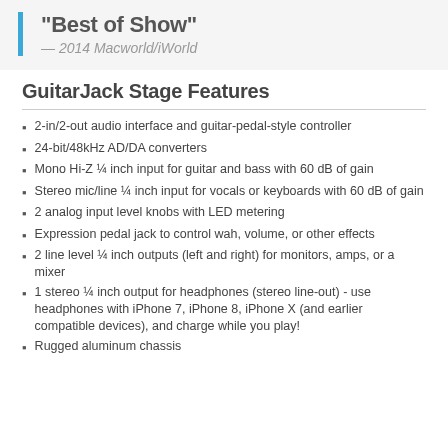"Best of Show" — 2014 Macworld/iWorld
GuitarJack Stage Features
2-in/2-out audio interface and guitar-pedal-style controller
24-bit/48kHz AD/DA converters
Mono Hi-Z ¼ inch input for guitar and bass with 60 dB of gain
Stereo mic/line ¼ inch input for vocals or keyboards with 60 dB of gain
2 analog input level knobs with LED metering
Expression pedal jack to control wah, volume, or other effects
2 line level ¼ inch outputs (left and right) for monitors, amps, or a mixer
1 stereo ¼ inch output for headphones (stereo line-out) - use headphones with iPhone 7, iPhone 8, iPhone X (and earlier compatible devices), and charge while you play!
Rugged aluminum chassis